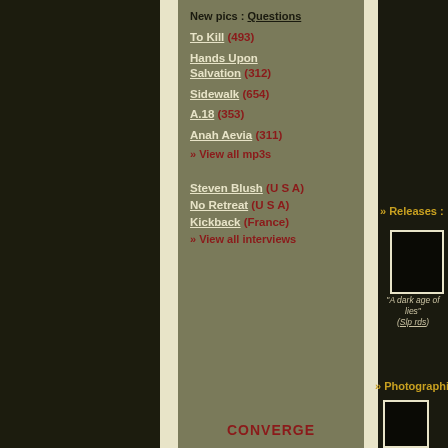New pics : Questions
To Kill (493)
Hands Upon Salvation (312)
Sidewalk (654)
A.18 (353)
Anah Aevia (311)
» View all mp3s
Steven Blush (U S A)
No Retreat (U S A)
Kickback (France)
» View all interviews
CONVERGE
» Releases :
[Figure (photo): Album cover placeholder box]
"A dark age of lies" (Slp rds)
» Photographies :
[Figure (photo): Photography placeholder box]